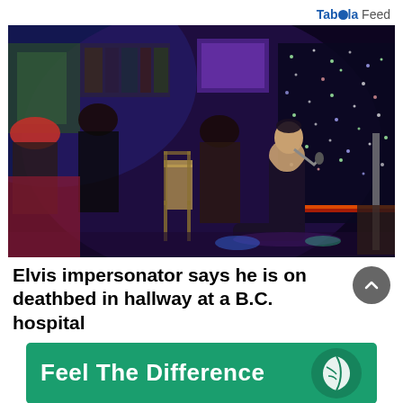Taboola Feed
[Figure (photo): An Elvis impersonator in a dark jacket performing on one knee with a microphone at an event venue with colorful stage lighting and audience seated at tables]
Elvis impersonator says he is on deathbed in hallway at a B.C. hospital
[Figure (infographic): Green advertisement banner reading 'Feel The Difference' with a leaf logo on the right]